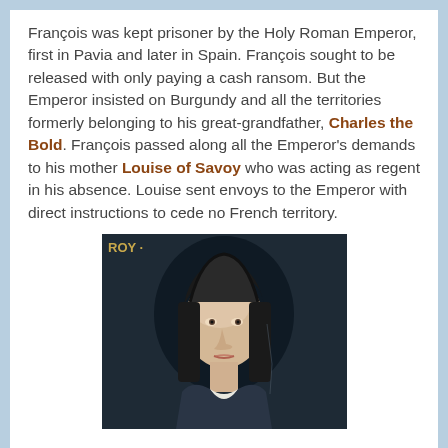François was kept prisoner by the Holy Roman Emperor, first in Pavia and later in Spain. François sought to be released with only paying a cash ransom. But the Emperor insisted on Burgundy and all the territories formerly belonging to his great-grandfather, Charles the Bold. François passed along all the Emperor's demands to his mother Louise of Savoy who was acting as regent in his absence. Louise sent envoys to the Emperor with direct instructions to cede no French territory.
[Figure (photo): A historical portrait painting of a person (likely Louise of Savoy) with the text 'ROY' partially visible in the upper left corner. The subject wears dark clothing and a dark head covering against a dark background.]